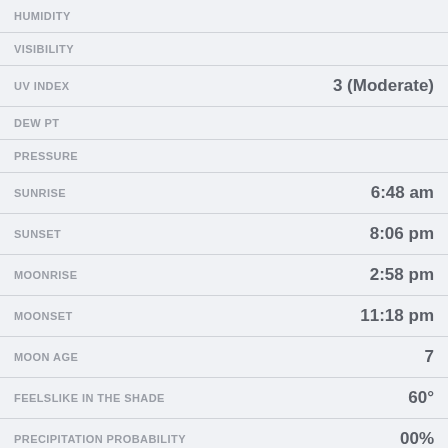| Label | Value |
| --- | --- |
| HUMIDITY |  |
| VISIBILITY |  |
| UV INDEX | 3 (Moderate) |
| DEW PT |  |
| PRESSURE |  |
| SUNRISE | 6:48 am |
| SUNSET | 8:06 pm |
| MOONRISE | 2:58 pm |
| MOONSET | 11:18 pm |
| MOON AGE | 7 |
| FEELSLIKE IN THE SHADE | 60° |
| PRECIPITATION PROBABILITY | 00% |